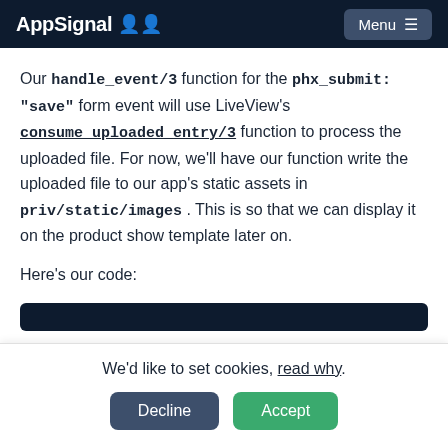AppSignal — Menu
Our handle_event/3 function for the phx_submit: "save" form event will use LiveView's consume_uploaded_entry/3 function to process the uploaded file. For now, we'll have our function write the uploaded file to our app's static assets in priv/static/images. This is so that we can display it on the product show template later on.
Here's our code:
[Figure (screenshot): Dark code block bar indicating the start of a code snippet]
We'd like to set cookies, read why.
Decline   Accept